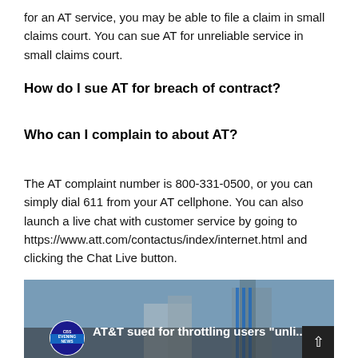for an AT service, you may be able to file a claim in small claims court. You can sue AT for unreliable service in small claims court.
How do I sue AT for breach of contract?
Who can I complain to about AT?
The AT complaint number is 800-331-0500, or you can simply dial 611 from your AT cellphone. You can also launch a live chat with customer service by going to https://www.att.com/contactus/index/internet.html and clicking the Chat Live button.
[Figure (screenshot): CBS Evening News video thumbnail showing AT&T sued for throttling users 'unli...' with an image of an AT&T building in the background and a scroll-up arrow button.]